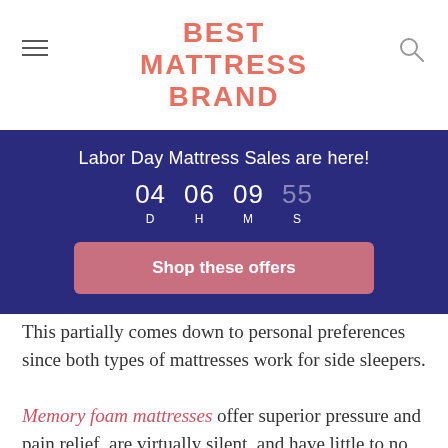BEST MATTRESS BRAND
Labor Day Mattress Sales are here!
04 D  06 H  09 M  55 S
Shop these offers
This partially comes down to personal preferences since both types of mattresses work for side sleepers.
Memory foam mattresses offer superior pressure and pain relief, are virtually silent, and have little to no motion transfer. Hybrid mattresses are still a